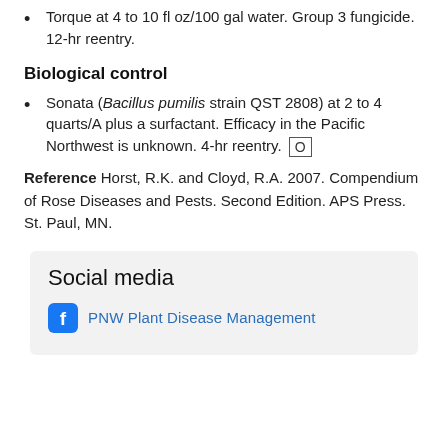Torque at 4 to 10 fl oz/100 gal water. Group 3 fungicide. 12-hr reentry.
Biological control
Sonata (Bacillus pumilis strain QST 2808) at 2 to 4 quarts/A plus a surfactant. Efficacy in the Pacific Northwest is unknown. 4-hr reentry. [O]
Reference Horst, R.K. and Cloyd, R.A. 2007. Compendium of Rose Diseases and Pests. Second Edition. APS Press. St. Paul, MN.
Social media
PNW Plant Disease Management